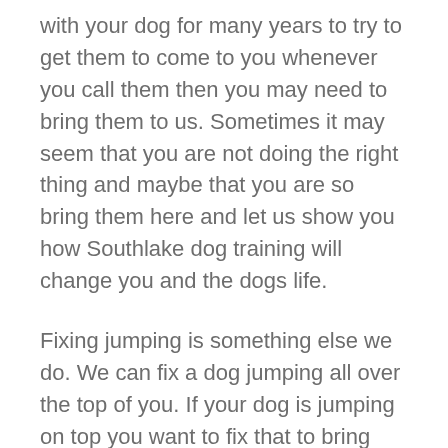with your dog for many years to try to get them to come to you whenever you call them then you may need to bring them to us. Sometimes it may seem that you are not doing the right thing and maybe that you are so bring them here and let us show you how Southlake dog training will change you and the dogs life.
Fixing jumping is something else we do. We can fix a dog jumping all over the top of you. If your dog is jumping on top you want to fix that to bring them and us. Will break them of that right away. We as specialized training programs with Southlake dog training that guarantees